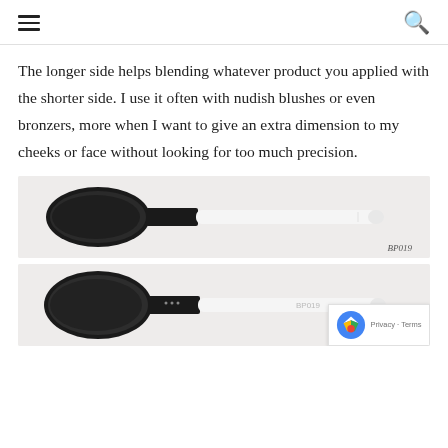navigation header with hamburger menu and search icon
The longer side helps blending whatever product you applied with the shorter side. I use it often with nudish blushes or even bronzers, more when I want to give an extra dimension to my cheeks or face without looking for too much precision.
[Figure (photo): A makeup brush with dark fluffy bristles, black ferrule, and white handle, labeled 'BP019', photographed from the front on a light grey background.]
[Figure (photo): The same makeup brush (BP019) photographed from the back on a light grey background, labeled 'BP019 back'.]